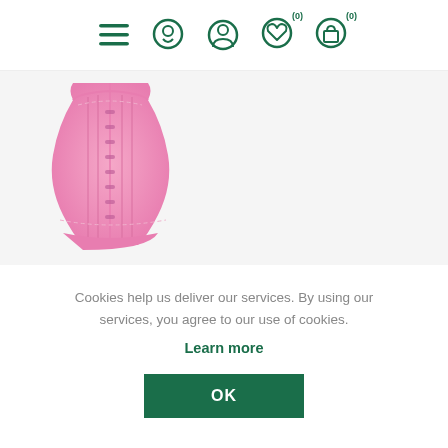[Figure (screenshot): Navigation bar with hamburger menu icon, search icon, user/account icon, heart/wishlist icon with (0) badge, shopping bag icon with (0) badge — all in dark teal/green on white background]
[Figure (photo): Pink waist trainer/corset shapewear product on white/gray background]
Cookies help us deliver our services. By using our services, you agree to our use of cookies.
Learn more
OK